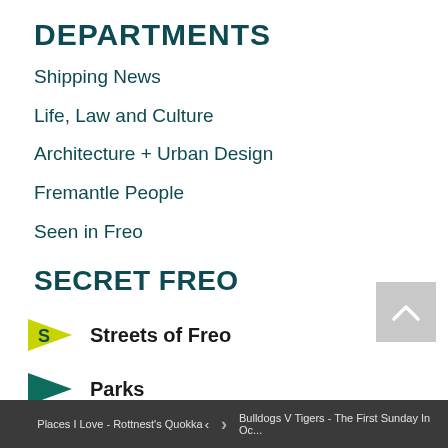DEPARTMENTS
Shipping News
Life, Law and Culture
Architecture + Urban Design
Fremantle People
Seen in Freo
SECRET FREO
Streets of Freo
Parks
Places I Love - Rottnest's Quokka   >   Bulldogs V Tigers - The First Sunday In Oc...